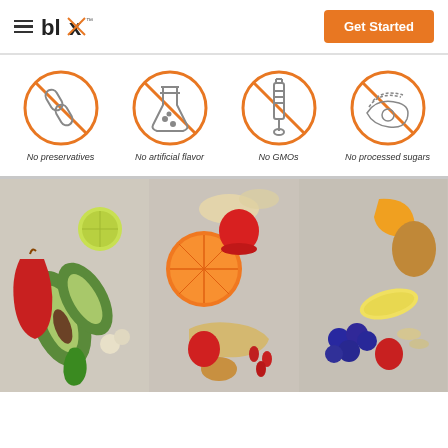blx™  Get Started
[Figure (infographic): Four orange circle icons with diagonal cross lines through them, representing: No preservatives (pills/capsule icon), No artificial flavor (lab flask icon), No GMOs (syringe/injection icon), No processed sugars (food/donut icon)]
No preservatives   No artificial flavor   No GMOs   No processed sugars
[Figure (photo): Three food photography panels on marble surface: left panel shows avocado, lime, red chili peppers, garlic, jalapeño; center panel shows orange, strawberries, ginger root, oats, goji berries, peanut butter; right panel shows mango, banana, blueberries, strawberries, peanut butter, hemp seeds.]